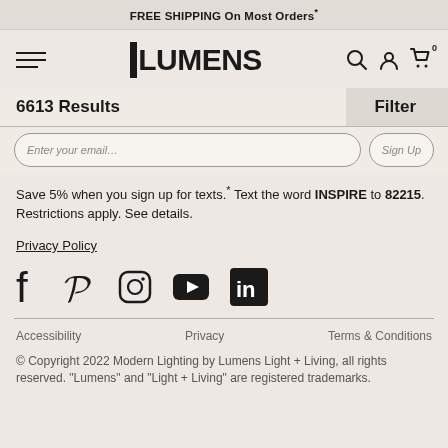FREE SHIPPING On Most Orders*
[Figure (logo): Lumens logo with hamburger menu and nav icons]
6613 Results
Filter
Enter your email... Sign Up
Save 5% when you sign up for texts.* Text the word INSPIRE to 82215. Restrictions apply. See details.
Privacy Policy
[Figure (infographic): Social media icons: Facebook, Pinterest, Instagram, YouTube, LinkedIn]
Accessibility   Privacy   Terms & Conditions
© Copyright 2022 Modern Lighting by Lumens Light + Living, all rights reserved. "Lumens" and "Light + Living" are registered trademarks.